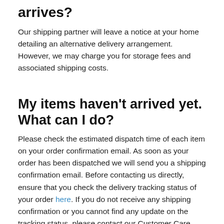arrives?
Our shipping partner will leave a notice at your home detailing an alternative delivery arrangement. However, we may charge you for storage fees and associated shipping costs.
My items haven't arrived yet. What can I do?
Please check the estimated dispatch time of each item on your order confirmation email. As soon as your order has been dispatched we will send you a shipping confirmation email. Before contacting us directly, ensure that you check the delivery tracking status of your order here. If you do not receive any shipping confirmation or you cannot find any update on the tracking status, please contact our Customer Care Team on 1300 793 271 or email customerservice@aprilandoak.com.au
For some items, we are currently unable to provide live